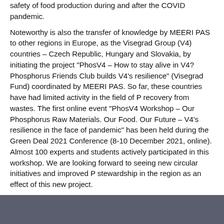safety of food production during and after the COVID pandemic.
Noteworthy is also the transfer of knowledge by MEERI PAS to other regions in Europe, as the Visegrad Group (V4) countries – Czech Republic, Hungary and Slovakia, by initiating the project "PhosV4 – How to stay alive in V4? Phosphorus Friends Club builds V4's resilience" (Visegrad Fund) coordinated by MEERI PAS. So far, these countries have had limited activity in the field of P recovery from wastes. The first online event "PhosV4 Workshop – Our Phosphorus Raw Materials. Our Food. Our Future – V4's resilience in the face of pandemic" has been held during the Green Deal 2021 Conference (8-10 December 2021, online). Almost 100 experts and students actively participated in this workshop. We are looking forward to seeing new circular initiatives and improved P stewardship in the region as an effect of this new project.
Information about project InPhos (European Sustainable Phosphorus Platform ESPP)
Information about project PhosV4